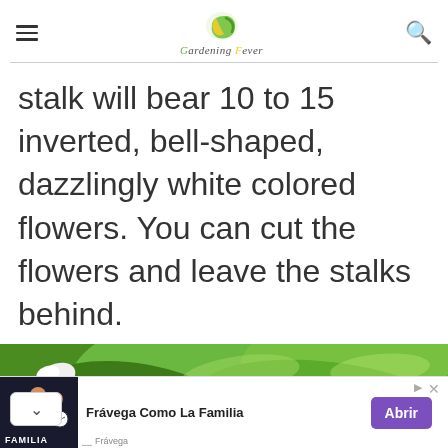Gardening Fever
stalk will bear 10 to 15 inverted, bell-shaped, dazzlingly white colored flowers. You can cut the flowers and leave the stalks behind.
[Figure (photo): Close-up photo of green plant leaves with white flower bud visible]
[Figure (other): Advertisement banner: Frávega Como La Familia with purple Abrir button and Frávega branding]